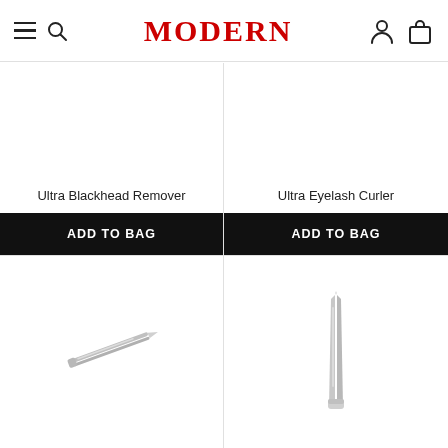MODERN — navigation header with hamburger, search, logo, user and bag icons
Ultra Blackhead Remover
ADD TO BAG
Ultra Eyelash Curler
ADD TO BAG
[Figure (photo): Flat diagonal silver tweezers on white background]
[Figure (photo): Upright pointed silver tweezers on white background]